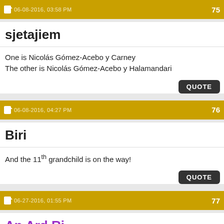06-08-2016, 03:58 PM | 75
sjetajiem
One is Nicolás Gómez-Acebo y Carney
The other is Nicolás Gómez-Acebo y Halamandari
06-08-2016, 04:27 PM | 76
Biri
And the 11th grandchild is on the way!
06-27-2016, 01:55 PM | 77
An Ard Ri
The Infanta Margarita was hospitalized following a fall.

La Infanta Margarita, operada de la cadera tras sufrir un accidente | loc | EL MUNDO